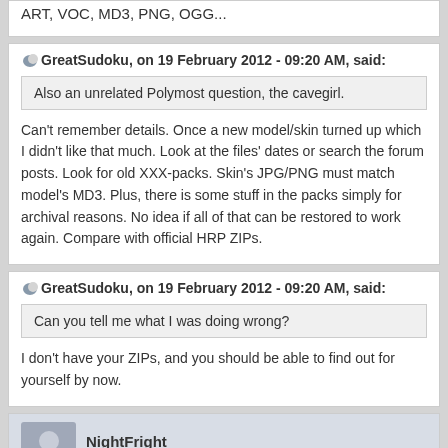ART, VOC, MD3, PNG, OGG...
GreatSudoku, on 19 February 2012 - 09:20 AM, said:
Also an unrelated Polymost question, the cavegirl.
Can't remember details. Once a new model/skin turned up which I didn't like that much. Look at the files' dates or search the forum posts. Look for old XXX-packs. Skin's JPG/PNG must match model's MD3. Plus, there is some stuff in the packs simply for archival reasons. No idea if all of that can be restored to work again. Compare with official HRP ZIPs.
GreatSudoku, on 19 February 2012 - 09:20 AM, said:
Can you tell me what I was doing wrong?
I don't have your ZIPs, and you should be able to find out for yourself by now.
NightFright
19 February 2012 - 01:34 PM
Just to warn you, I have made my "threat" true and released a new